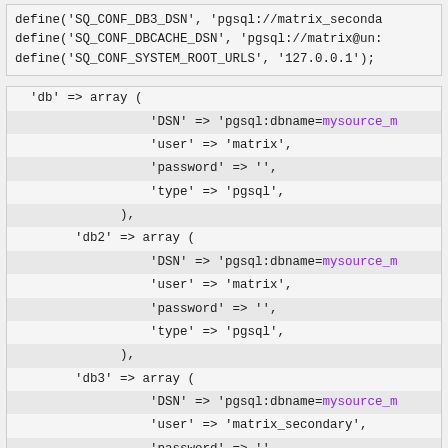[Figure (screenshot): Code snippet showing define statements for SQ_CONF_DB3_DSN, SQ_CONF_DBCACHE_DSN, SQ_CONF_SYSTEM_ROOT_URLS]
[Figure (screenshot): Code snippet showing PHP array configuration for db, db2, db3, dbcache with DSN, user, password, type fields]